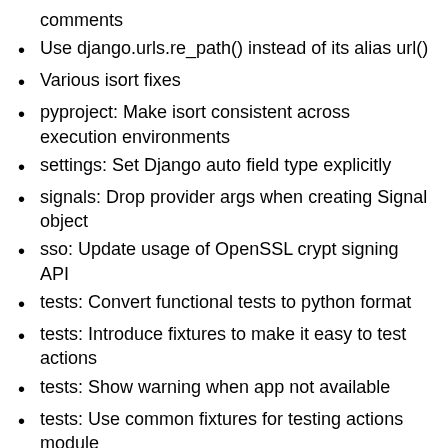comments
Use django.urls.re_path() instead of its alias url()
Various isort fixes
pyproject: Make isort consistent across execution environments
settings: Set Django auto field type explicitly
signals: Drop provider args when creating Signal object
sso: Update usage of OpenSSL crypt signing API
tests: Convert functional tests to python format
tests: Introduce fixtures to make it easy to test actions
tests: Show warning when app not available
tests: Use common fixtures for testing actions module
tests: Use newer splinter API for finding links
views: Update utility for checking URL safety
FreedomBox 21.9 (2021-09-18)